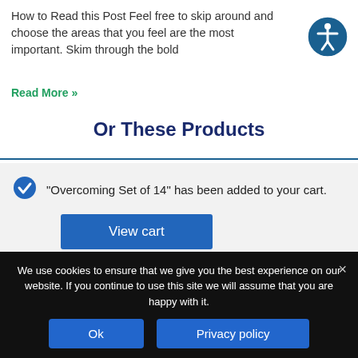How to Read this Post Feel free to skip around and choose the areas that you feel are the most important. Skim through the bold
Read More »
Or These Products
"Overcoming Set of 14" has been added to your cart.
View cart
[Figure (photo): Product images strip showing book covers including one with text 'despair and distress, embrace hope and courage to' and a set of book spines in teal/blue/purple colors]
We use cookies to ensure that we give you the best experience on our website. If you continue to use this site we will assume that you are happy with it.
Ok
Privacy policy